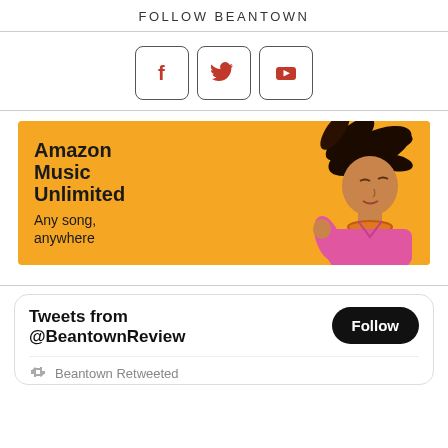FOLLOW BEANTOWN
[Figure (other): Three social media icon buttons: Facebook (f), Twitter (bird), YouTube (play button triangle), each in a rounded rectangle border]
[Figure (other): Amazon Music Unlimited advertisement banner with yellow/orange background. Text reads: Amazon Music Unlimited / Any song, anywhere. Shows a woman with flowing hair wearing pink shirt and orange necklace.]
Tweets from @BeantownReview
Follow
Beantown Retweeted